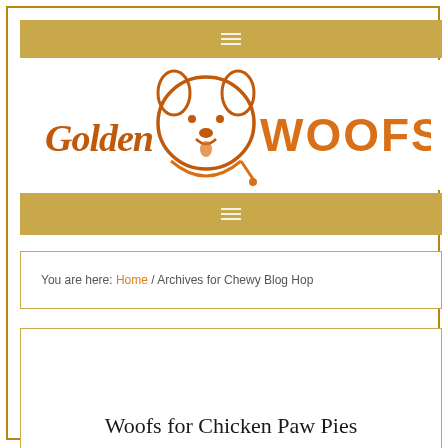≡
[Figure (logo): Golden Woofs logo with a cartoon golden retriever dog face inside a circular leash design, with 'Golden' in brown cursive script and 'WOOFS' in large orange block letters]
≡
You are here: Home / Archives for Chewy Blog Hop
Woofs for Chicken Paw Pies